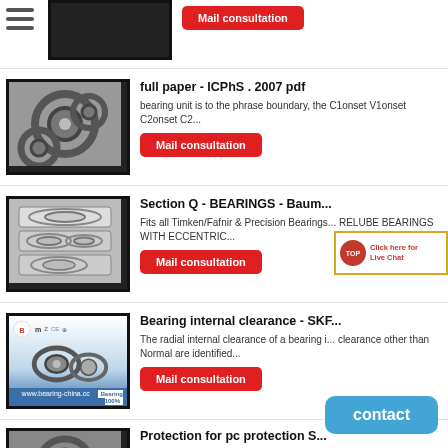[Figure (photo): Partial bearing product image at top with hamburger menu icon, and Mail consultation button]
Mail consultation
[Figure (photo): Ball bearing product image]
full paper - ICPhS . 2007 pdf
bearing unit is to the phrase boundary, the C1onset V1onset C2onset C2...
Mail consultation
[Figure (photo): Multiple bearing rings product image]
Section Q - BEARINGS - Baum...
Fits all Timken/Fafnir & Precision Bearings... RELUBE BEARINGS WITH ECCENTRIC...
Mail consultation
[Figure (photo): Tapered roller bearing product image from bearing-china.cc]
Bearing internal clearance - SKF...
The radial internal clearance of a bearing i... clearance other than Normal are identified...
Mail consultation
[Figure (photo): Partial bearing ring image at bottom]
Protection for pc protection S... pdf